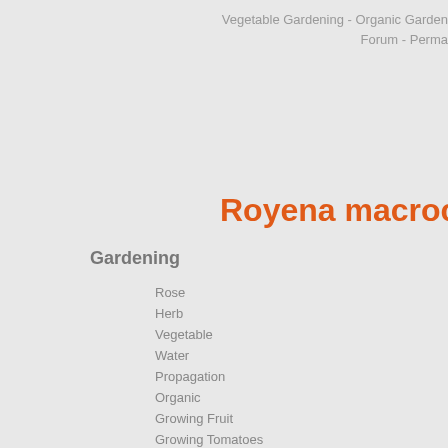Vegetable Gardening - Organic Garden Forum  - Perma
Royena macrocalyx
Gardening
Rose
Herb
Vegetable
Water
Propagation
Organic
Growing Fruit
Growing Tomatoes
Composting
Soil
All about Sheds
Container
Hydroponics
Flower
Scientific name : Royena macrocalyx au
Botanical Family : Ebenaceae
Plant Popularity
The plant Royena macrocalyx auct., is top 68% of botanical plant names on ou Description :